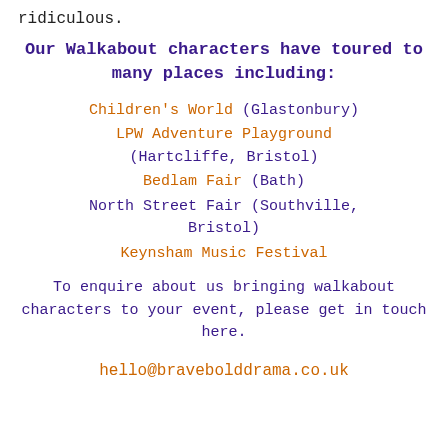ridiculous.
Our Walkabout characters have toured to many places including:
Children's World (Glastonbury)
LPW Adventure Playground (Hartcliffe, Bristol)
Bedlam Fair (Bath)
North Street Fair (Southville, Bristol)
Keynsham Music Festival
To enquire about us bringing walkabout characters to your event, please get in touch here.
hello@bravebolddrama.co.uk